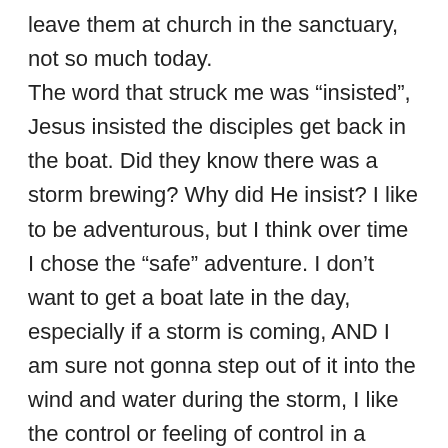leave them at church in the sanctuary, not so much today. The word that struck me was “insisted”, Jesus insisted the disciples get back in the boat. Did they know there was a storm brewing? Why did He insist? I like to be adventurous, but I think over time I chose the “safe” adventure. I don’t want to get a boat late in the day, especially if a storm is coming, AND I am sure not gonna step out of it into the wind and water during the storm, I like the control or feeling of control in a boat. I see all sorts of lessons for me that I don’t wanna learn! Does Jesus need us to at least be in the boat? If the boat at night isn’t enough, add a storm! Is life to be a series of boats and storms? What is Jesus insisting me do with my time and life?